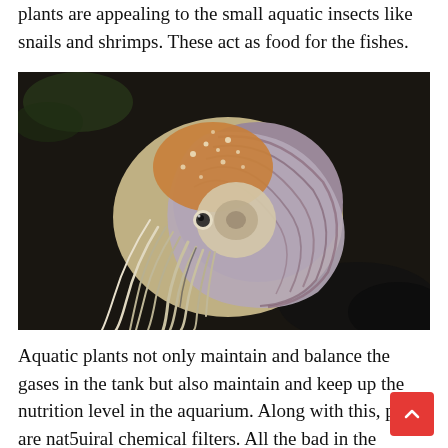plants are appealing to the small aquatic insects like snails and shrimps. These act as food for the fishes.
[Figure (photo): A nautilus (cephalopod mollusk) with a spiraled shell featuring white and reddish-brown stripes and orange-spotted mantle, swimming against a dark aquatic background.]
Aquatic plants not only maintain and balance the gases in the tank but also maintain and keep up the nutrition level in the aquarium. Along with this, plats are nat5uiral chemical filters. All the bad in the container will be taken by the aquatic plant and